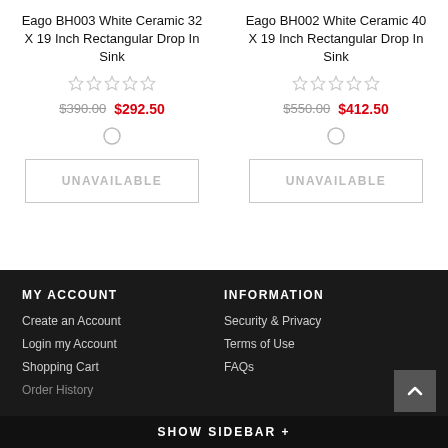Eago BH003 White Ceramic 32 X 19 Inch Rectangular Drop In Sink
Eago BH002 White Ceramic 40 X 19 Inch Rectangular Drop In Sink
$390.00  $292.50
$550.00  $412.50
UNAVAILABLE
UNAVAILABLE
MY ACCOUNT
INFORMATION
Create an Account
Login my Account
Shopping Cart
Order History
Security & Privacy
Terms of Use
FAQs
SHOW SIDEBAR +